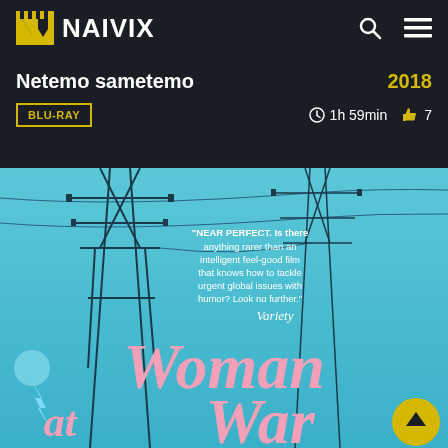NAIVIX
Netemo sametemo
2018
BLU-RAY
1h 59min  7
[Figure (photo): Movie poster for 'Woman at War' showing power line pylons against a blue sky with lightning, large pink cursive title text. Quote from Variety: 'NEAR PERFECT. Is there anything rarer than an intelligent feel-good film that knows how to tackle urgent global issues with humor? Look no further.']